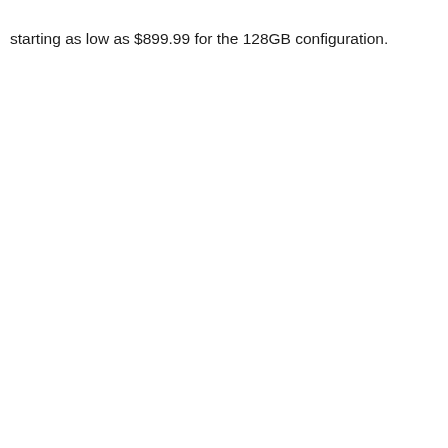starting as low as $899.99 for the 128GB configuration.